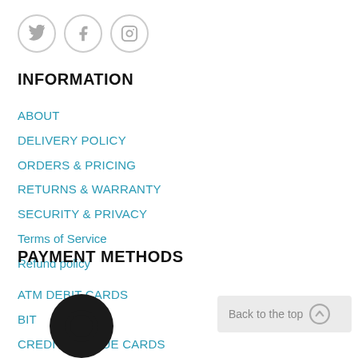[Figure (illustration): Three circular social media icons (Twitter, Facebook, Instagram) with grey outlines]
INFORMATION
ABOUT
DELIVERY POLICY
ORDERS & PRICING
RETURNS & WARRANTY
SECURITY & PRIVACY
Terms of Service
Refund policy
PAYMENT METHODS
ATM DEBIT CARDS
BIT
CREDIT/CHEQUE CARDS
INSTANT EFT
MASTERPASS
[Figure (illustration): Black circular chat bubble icon overlay]
Back to the top